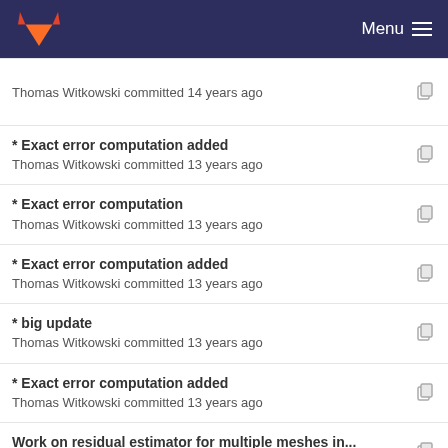GitLab Menu
Thomas Witkowski committed 14 years ago
* Exact error computation added
Thomas Witkowski committed 13 years ago
* Exact error computation
Thomas Witkowski committed 13 years ago
* Exact error computation added
Thomas Witkowski committed 13 years ago
* big update
Thomas Witkowski committed 13 years ago
* Exact error computation added
Thomas Witkowski committed 13 years ago
Work on residual estimator for multiple meshes in...
Thomas Witkowski committed 12 years ago